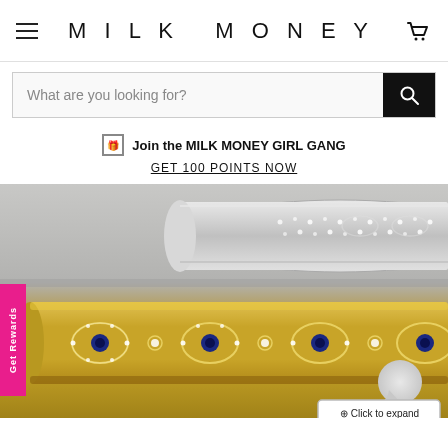MILK MONEY
What are you looking for?
Join the MILK MONEY GIRL GANG GET 100 POINTS NOW
[Figure (photo): Close-up photograph of two luxury bangles/bracelets stacked: a silver/white gold bangle with diamond pavé details on top, and a gold bangle with evil eye motifs set with diamonds and blue sapphires on the bottom. The bracelets are photographed against a light gray background.]
Get Rewards
Click to expand